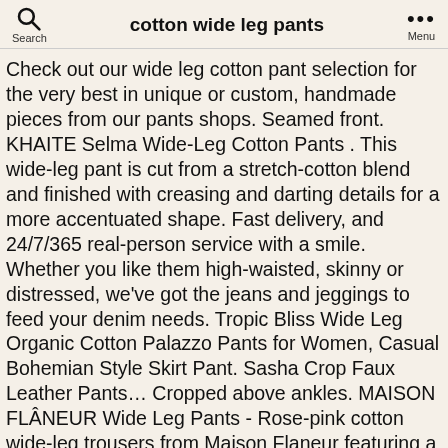cotton wide leg pants
Check out our wide leg cotton pant selection for the very best in unique or custom, handmade pieces from our pants shops. Seamed front. KHAITE Selma Wide-Leg Cotton Pants . This wide-leg pant is cut from a stretch-cotton blend and finished with creasing and darting details for a more accentuated shape. Fast delivery, and 24/7/365 real-person service with a smile. Whether you like them high-waisted, skinny or distressed, we've got the jeans and jeggings to feed your denim needs. Tropic Bliss Wide Leg Organic Cotton Palazzo Pants for Women, Casual Bohemian Style Skirt Pant. Sasha Crop Faux Leather Pants… Cropped above ankles. MAISON FLÂNEUR Wide Leg Pants - Rose-pink cotton wide-leg trousers from Maison Flaneur featuring a waistband with belt loops, side pockets, rear welt pockets and a wide leg. Oh My Gauze Max Pants Wide Leg 100% Comfortable Cotton Lagenlook. Ecupper Womens Casual Loose Elastic Waist Cotton Trouser Cropped Wide Leg Pants, Hali Cali Cotton Spandex Women's Straight Casual Loose